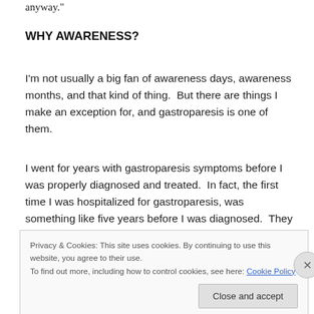anyway."
WHY AWARENESS?
I'm not usually a big fan of awareness days, awareness months, and that kind of thing.  But there are things I make an exception for, and gastroparesis is one of them.
I went for years with gastroparesis symptoms before I was properly diagnosed and treated.  In fact, the first time I was hospitalized for gastroparesis, was something like five years before I was diagnosed.  They put me on
Privacy & Cookies: This site uses cookies. By continuing to use this website, you agree to their use.
To find out more, including how to control cookies, see here: Cookie Policy